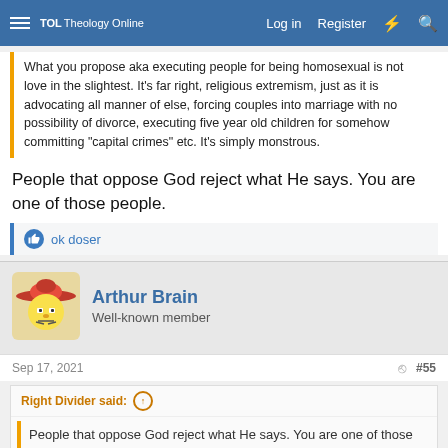TOL Theology Online — Log in  Register
What you propose aka executing people for being homosexual is not love in the slightest. It's far right, religious extremism, just as it is advocating all manner of else, forcing couples into marriage with no possibility of divorce, executing five year old children for somehow committing "capital crimes" etc. It's simply monstrous.
People that oppose God reject what He says. You are one of those people.
👍 ok doser
Arthur Brain
Well-known member
Sep 17, 2021  #55
Right Divider said:
People that oppose God reject what He says. You are one of those people.